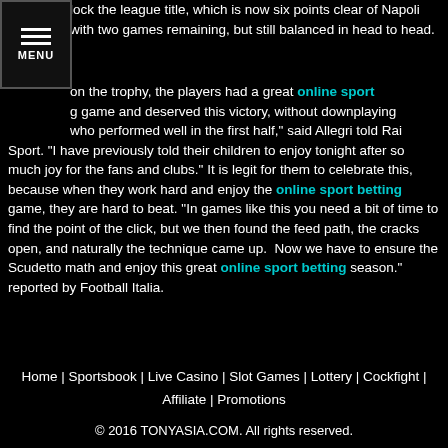lock the league title, which is now six points clear of Napoli with two games remaining, but still balanced in head to head.
MENU
on the trophy, the players had a great online sport betting game and deserved this victory, without downplaying who performed well in the first half," said Allegri told Rai Sport. "I have previously told their children to enjoy tonight after so much joy for the fans and clubs." It is legit for them to celebrate this, because when they work hard and enjoy the online sport betting game, they are hard to beat. "In games like this you need a bit of time to find the point of the click, but we then found the feed path, the cracks open, and naturally the technique came up. Now we have to ensure the Scudetto math and enjoy this great online sport betting season." reported by Football Italia.
Home | Sportsbook | Live Casino | Slot Games | Lottery | Cockfight | Affiliate | Promotions
© 2016 TONYASIA.COM. All rights reserved.